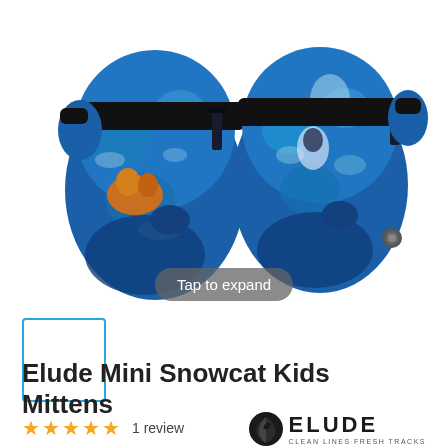[Figure (photo): Two blue patterned children's ski mittens with black wrist straps, displayed side by side on white background. The mittens feature a colorful winter/arctic animal print in shades of blue with illustrations of animals and winter scenes.]
Tap to expand
[Figure (photo): Small thumbnail image of the same blue patterned mittens, selected/active state shown by cyan/blue border]
Elude Mini Snowcat Kids Mittens
★★★★★  1 review
[Figure (logo): Elude brand logo — circular leaf/shield icon in black alongside bold text ELUDE with tagline CLEAN LINES FRESH TRACKS]